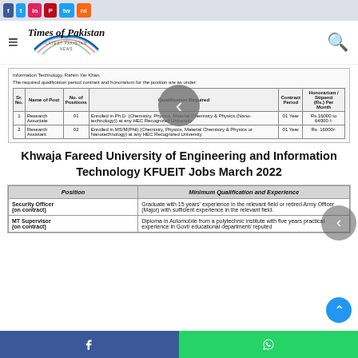Times of Pakistan — Latest Pakistan News
[Figure (table-as-image): Scanned document table from Khwaja Fareed University showing Research Associate and Research Assistant positions with qualifications, contract period and honorarium details. A navigation arrow overlay is visible on the image.]
Khwaja Fareed University of Engineering and Information Technology KFUEIT Jobs March 2022
| Position | Minimum Qualification and Experience |
| --- | --- |
| Security Officer (on contract) | Graduate with 15 years' experience in the relevant field or retired Army Officer (Major) with sufficient experience in the relevant field. |
| MT Supervisor (on contract) | Diploma in Automobile from a polytechnic institute with five years practical experience in Govt/ educational department/ reputed... |
Facebook share | WhatsApp share